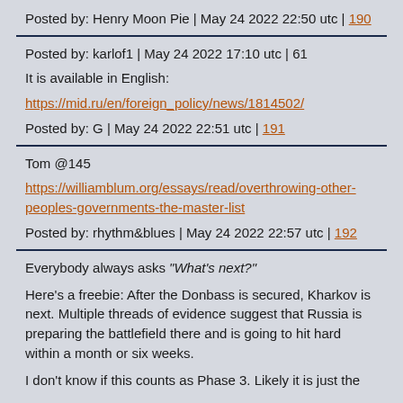Posted by: Henry Moon Pie | May 24 2022 22:50 utc | 190
Posted by: karlof1 | May 24 2022 17:10 utc | 61
It is available in English:
https://mid.ru/en/foreign_policy/news/1814502/
Posted by: G | May 24 2022 22:51 utc | 191
Tom @145
https://williamblum.org/essays/read/overthrowing-other-peoples-governments-the-master-list
Posted by: rhythm&blues | May 24 2022 22:57 utc | 192
Everybody always asks "What's next?"
Here's a freebie: After the Donbass is secured, Kharkov is next. Multiple threads of evidence suggest that Russia is preparing the battlefield there and is going to hit hard within a month or six weeks.
I don't know if this counts as Phase 3. Likely it is just the